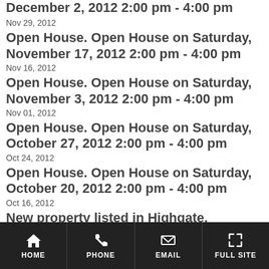Nov 29, 2012
Open House. Open House on Saturday, November 17, 2012 2:00 pm - 4:00 pm
Nov 16, 2012
Open House. Open House on Saturday, November 3, 2012 2:00 pm - 4:00 pm
Nov 01, 2012
Open House. Open House on Saturday, October 27, 2012 2:00 pm - 4:00 pm
Oct 24, 2012
Open House. Open House on Saturday, October 20, 2012 2:00 pm - 4:00 pm
Oct 16, 2012
New property listed in Highgate, Burnaby South
Oct 12, 2012
Open House. Open House on Sunday, October 14, 2012 2:00 pm - 4:00 pm
Oct 12, 2012
HOME  PHONE  EMAIL  FULL SITE